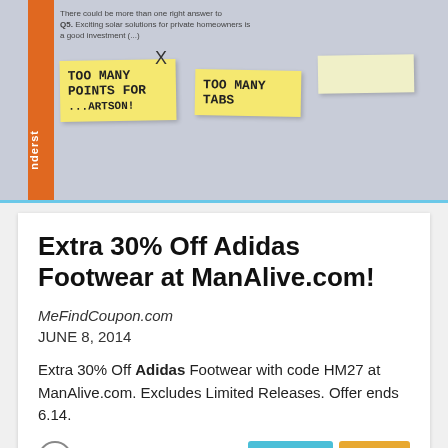[Figure (photo): Photo of a whiteboard with sticky notes including 'TOO MANY POINTS FOR...' and 'TOO MANY TABS' on yellow post-it notes, with an orange sidebar strip]
Extra 30% Off Adidas Footwear at ManAlive.com!
MeFindCoupon.com
JUNE 8, 2014
Extra 30% Off Adidas Footwear with code HM27 at ManAlive.com. Excludes Limited Releases. Offer ends 6.14.
[Figure (photo): Photo of two people, blurred, with a laptop visible at bottom right]